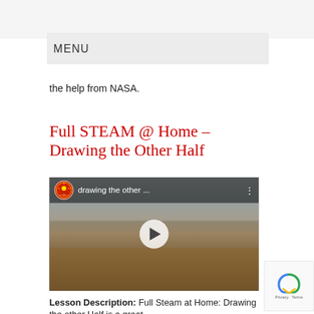MENU
the help from NASA.
Full STEAM @ Home – Drawing the Other Half
[Figure (screenshot): Video thumbnail showing a woman sitting at a kitchen table with papers and art supplies, with a circular red logo and the text 'drawing the other ...' in the top bar, and a play button in the center.]
Lesson Description: Full Steam at Home: Drawing the other Half is a great